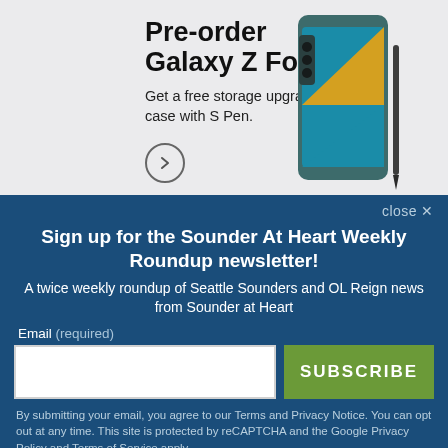[Figure (photo): Samsung Galaxy Z Fold4 advertisement banner with phone image on right. Teal/dark-colored foldable phone with S Pen stylus shown.]
Pre-order Galaxy Z Fold4
Get a free storage upgrade and case with S Pen.
close X
Sign up for the Sounder At Heart Weekly Roundup newsletter!
A twice weekly roundup of Seattle Sounders and OL Reign news from Sounder at Heart
Email (required)
SUBSCRIBE
By submitting your email, you agree to our Terms and Privacy Notice. You can opt out at any time. This site is protected by reCAPTCHA and the Google Privacy Policy and Terms of Service apply.